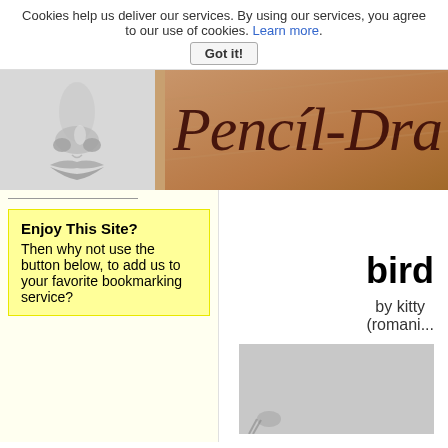Cookies help us deliver our services. By using our services, you agree to our use of cookies. Learn more.
Got it!
[Figure (photo): Grayscale close-up of a face (nose and lips area)]
[Figure (illustration): Brown/tan background with handwritten italic text 'Pencil-Dra...' (Pencil-Drawing site logo)]
Enjoy This Site? Then why not use the button below, to add us to your favorite bookmarking service?
bird
by kitty (romani...
[Figure (illustration): Gray rectangle showing a pencil drawing preview]